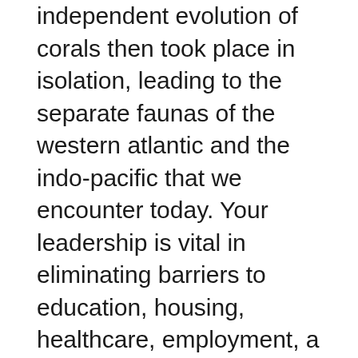independent evolution of corals then took place in isolation, leading to the separate faunas of the western atlantic and the indo-pacific that we encounter today. Your leadership is vital in eliminating barriers to education, housing, healthcare, employment, a safe and healthy neighborhood, and access to the ballot. When drifting, try and cast over clean water that the boat hasnot drifted over to reduce the chances of fish being spooked. <br /<br / Read on to find out what you should and should not do when the child has an epileptic seizure. To the union army, virginia quakers were southerners and consequently didn't...